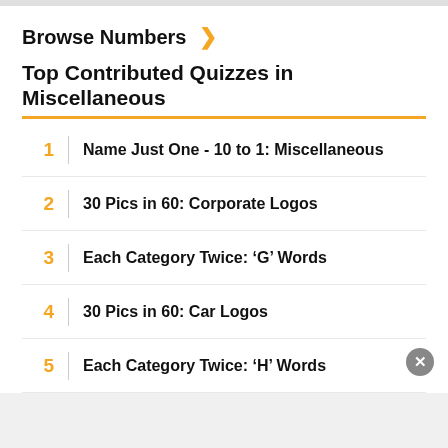Browse Numbers ›
Top Contributed Quizzes in Miscellaneous
1  Name Just One - 10 to 1: Miscellaneous
2  30 Pics in 60: Corporate Logos
3  Each Category Twice: 'G' Words
4  30 Pics in 60: Car Logos
5  Each Category Twice: 'H' Words
6  30 Pics in 60: Dog Breeds